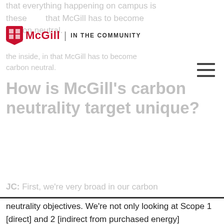McGill | IN THE COMMUNITY
How is McGill's carbon neutrality target unique?
JC: First, we're very broad in our carbon neutrality objectives. We're not only looking at Scope 1 [direct] and 2 [indirect from purchased energy] emissions. We're also looking at select Scope 3 [other indirect] emissions, mainly commuting and directly funded air travel. This is unique to McGill and helps position us as leaders.
And then the other [unique factor] is our approach to carbon neutrality. We focus first and foremost on carbon reduction at the